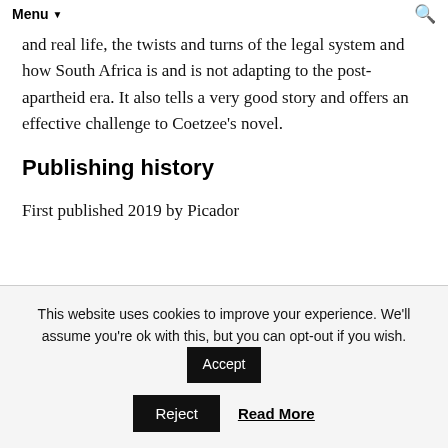Menu
particularly still living people, the link between literature and real life, the twists and turns of the legal system and how South Africa is and is not adapting to the post-apartheid era. It also tells a very good story and offers an effective challenge to Coetzee's novel.
Publishing history
First published 2019 by Picador
This website uses cookies to improve your experience. We'll assume you're ok with this, but you can opt-out if you wish. Accept Reject Read More